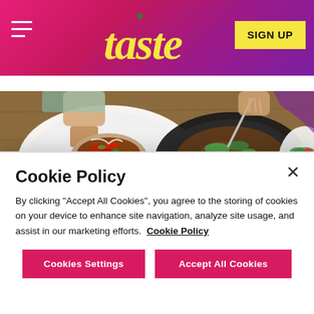Taste - SIGN UP
[Figure (photo): Food photography showing hands holding a taco/burrito with red peppers and toppings on a white plate, and a fork resting on a black bowl with spiced meat and green herbs, with a small salad visible on the right, all on a wooden table top-down view.]
Cookie Policy
By clicking "Accept All Cookies", you agree to the storing of cookies on your device to enhance site navigation, analyze site usage, and assist in our marketing efforts.  Cookie Policy
Cookies Settings
Accept All Cookies